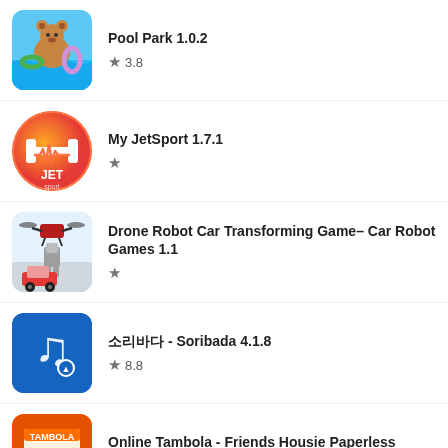Pool Park 1.0.2 ★ 3.8
My JetSport 1.7.1 ★
Drone Robot Car Transforming Game– Car Robot Games 1.1 ★
소리바다 - Soribada 4.1.8 ★ 8.8
Online Tambola - Friends Housie Paperless Bingo